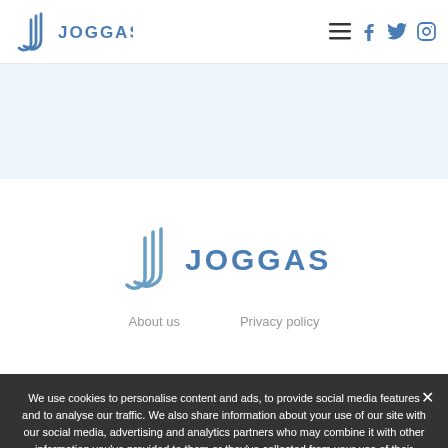JOGGAS — navigation bar with logo, hamburger menu, Facebook, Twitter, Instagram icons
[Figure (logo): Joggas logo — stylized J letter in blue outline and JOGGAS text in blue, centered on page]
About us   Privacy policy
We use cookies to personalise content and ads, to provide social media features and to analyse our traffic. We also share information about your use of our site with our social media, advertising and analytics partners who may combine it with other information you've provided to them or they've collected from your use of their services.